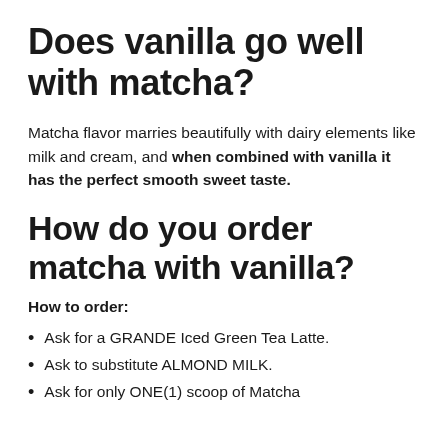Does vanilla go well with matcha?
Matcha flavor marries beautifully with dairy elements like milk and cream, and when combined with vanilla it has the perfect smooth sweet taste.
How do you order matcha with vanilla?
How to order:
Ask for a GRANDE Iced Green Tea Latte.
Ask to substitute ALMOND MILK.
Ask for only ONE(1) scoop of Matcha